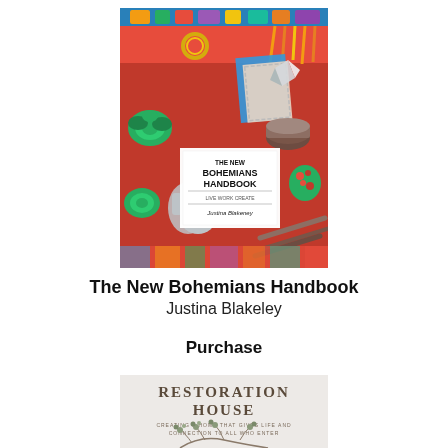[Figure (photo): Book cover of 'The New Bohemians Handbook' by Justina Blakeley — colorful bohemian-style flat lay with succulents, tassels, jewelry, and decorative objects on a red/orange background, with a white title card in the center.]
The New Bohemians Handbook
Justina Blakeley
Purchase
[Figure (photo): Partial book cover of 'Restoration House: Creating a Home That Gives Life and Connection to All Who Enter' — light, minimalist gray/white cover with botanical branch illustration at the bottom.]